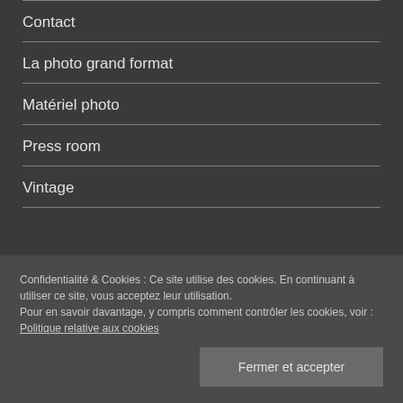Contact
La photo grand format
Matériel photo
Press room
Vintage
Confidentialité & Cookies : Ce site utilise des cookies. En continuant à utiliser ce site, vous acceptez leur utilisation.
Pour en savoir davantage, y compris comment contrôler les cookies, voir : Politique relative aux cookies
Fermer et accepter